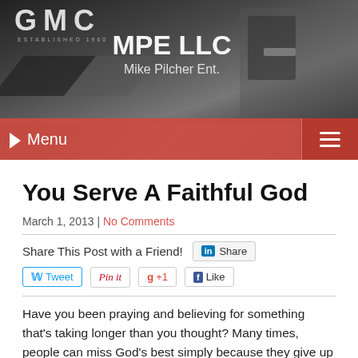[Figure (photo): Website header banner showing a dark truck with GMC logo and chevron graphics. Overlay text reads MPE LLC and Mike Pilcher Ent. A red navigation menu bar with Menu text and hamburger icon is at the bottom of the header.]
You Serve A Faithful God
March 1, 2013 | No Comments
Share This Post with a Friend!
Have you been praying and believing for something that's taking longer than you thought? Many times, people can miss God's best simply because they give up before they see their answer come.